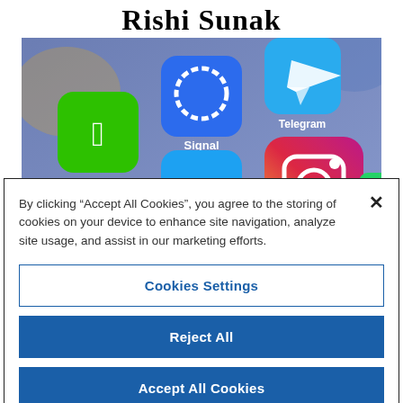Rishi Sunak
[Figure (photo): Close-up photo of a smartphone screen showing social media app icons: WeChat, Signal, Telegram, Twitter (bird), and Instagram]
By clicking “Accept All Cookies”, you agree to the storing of cookies on your device to enhance site navigation, analyze site usage, and assist in our marketing efforts.
Cookies Settings
Reject All
Accept All Cookies